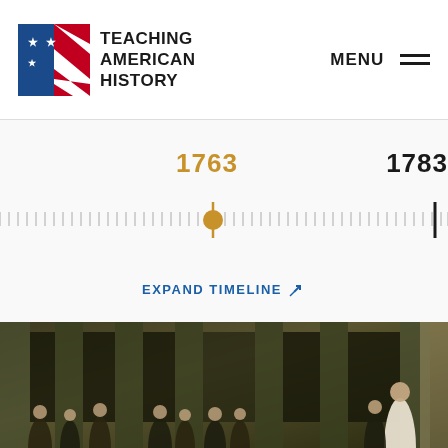[Figure (logo): Teaching American History logo with flag graphic and bold uppercase text]
MENU
[Figure (infographic): Historical timeline showing years 1763 (highlighted in gold with a marker) and 1783 (in black). The timeline has tick marks running across the full width. A gold circle marker sits at the 1763 position.]
EXPAND TIMELINE
[Figure (photo): Historical painting depicting the Founding Fathers in a grand columned hall, with figures in 18th-century dress. Appears to be a Constitutional Convention scene.]